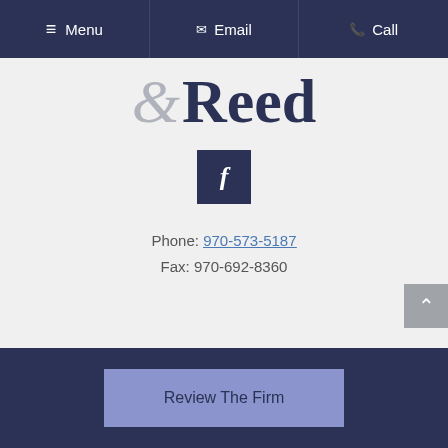Menu | Email | Call
[Figure (logo): &Reed law firm logo with ampersand and Reed text]
[Figure (other): Facebook social media button (dark navy square with 'f' icon)]
Phone: 970-573-5187
Fax: 970-692-8360
Review The Firm